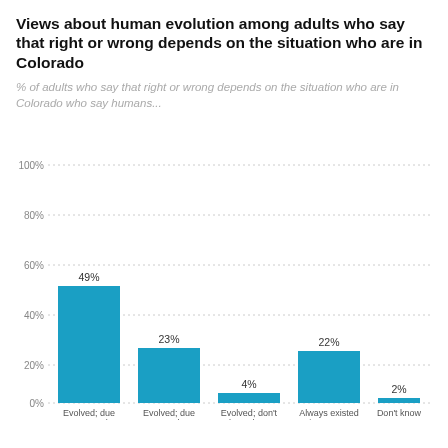Views about human evolution among adults who say that right or wrong depends on the situation who are in Colorado
% of adults who say that right or wrong depends on the situation who are in Colorado who say humans...
[Figure (bar-chart): Views about human evolution among adults who say that right or wrong depends on the situation who are in Colorado]